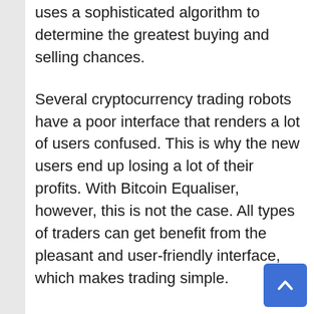uses a sophisticated algorithm to determine the greatest buying and selling chances.
Several cryptocurrency trading robots have a poor interface that renders a lot of users confused. This is why the new users end up losing a lot of their profits. With Bitcoin Equaliser, however, this is not the case. All types of traders can get benefit from the pleasant and user-friendly interface, which makes trading simple.
The platform makes depositing and withdrawing money extremely straightforward and rapid. Several bank cards, as well as electronic wallets like Neteller, are accepted on the site. After submitting a form, the full withdrawal process takes 24 hours. For